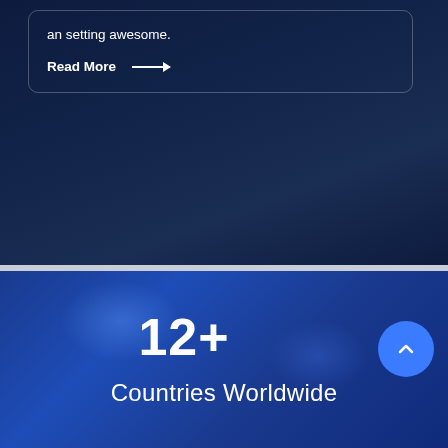an setting awesome.
Read More →
[Figure (infographic): Blue section showing stat: 12+ Countries Worldwide with a scroll-up button]
12+
Countries Worldwide